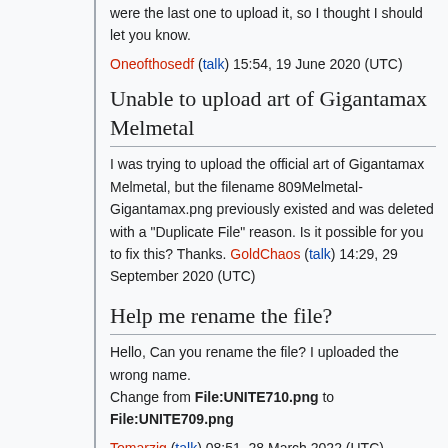were the last one to upload it, so I thought I should let you know.
Oneofthosedf (talk) 15:54, 19 June 2020 (UTC)
Unable to upload art of Gigantamax Melmetal
I was trying to upload the official art of Gigantamax Melmetal, but the filename 809Melmetal-Gigantamax.png previously existed and was deleted with a "Duplicate File" reason. Is it possible for you to fix this? Thanks. GoldChaos (talk) 14:29, 29 September 2020 (UTC)
Help me rename the file?
Hello, Can you rename the file? I uploaded the wrong name.
Change from File:UNITE710.png to File:UNITE709.png
Tomarzig (talk) 08:51, 28 March 2022 (UTC)
Moved it for you. BigDocFan (talk) 15:07